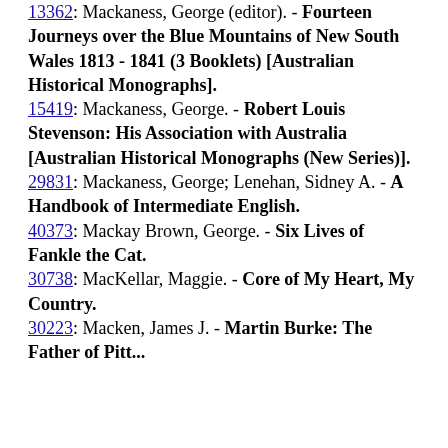13362: Mackaness, George (editor). - Fourteen Journeys over the Blue Mountains of New South Wales 1813 - 1841 (3 Booklets) [Australian Historical Monographs].
15419: Mackaness, George. - Robert Louis Stevenson: His Association with Australia [Australian Historical Monographs (New Series)].
29831: Mackaness, George; Lenehan, Sidney A. - A Handbook of Intermediate English.
40373: Mackay Brown, George. - Six Lives of Fankle the Cat.
30738: MacKellar, Maggie. - Core of My Heart, My Country.
30223: Macken, James J. - Martin Burke: The Father of Pitty...